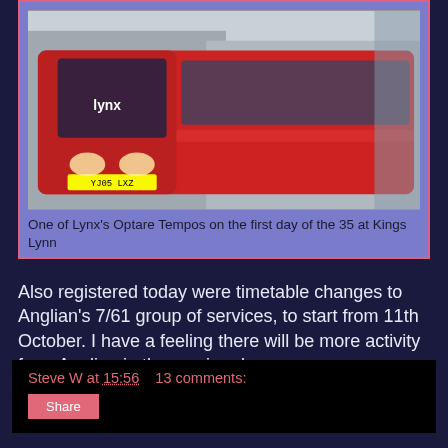[Figure (photo): A red Lynx Optare Tempo bus at Kings Lynn bus station on the first day of route 35]
One of Lynx's Optare Tempos on the first day of the 35 at Kings Lynn
Also registered today were timetable changes to Anglian's 7/61 group of services, to start from 11th October. I have a feeling there will be more activity from Anglian in the coming days.
Steve W at 15:56    13 comments:
First New P&R Buses Arrive
Thanks to my man at Konect I can bring you the first independent photo of the first two Enviro 400's for the